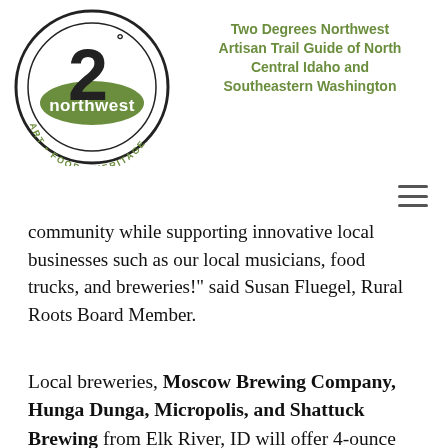[Figure (logo): Two Degrees Northwest circular logo with '2°' and 'northwest' text, 'ART • FOOD • HERITAGE' around the bottom]
Two Degrees Northwest Artisan Trail Guide of North Central Idaho and Southeastern Washington
community while supporting innovative local businesses such as our local musicians, food trucks, and breweries!" said Susan Fluegel, Rural Roots Board Member.
Local breweries, Moscow Brewing Company, Hunga Dunga, Micropolis, and Shattuck Brewing from Elk River, ID will offer 4-ounce pours of hand-crafted